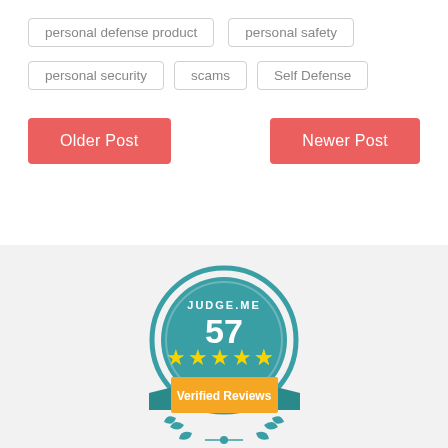personal defense product
personal safety
personal security
scams
Self Defense
Older Post
Newer Post
[Figure (infographic): Judge.me badge showing 57 verified reviews with 4.5 stars rating]